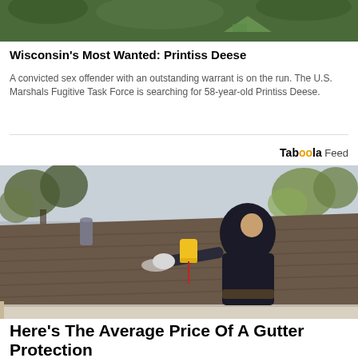[Figure (photo): Partial view of a news article image from FOX8NOW.COM showing a green outdoor scene with a logo badge]
Wisconsin’s Most Wanted: Printiss Deese
A convicted sex offender with an outstanding warrant is on the run. The U.S. Marshals Fugitive Task Force is searching for 58-year-old Printiss Deese.
Taboola Feed
[Figure (photo): A worker in a black hoodie on a rooftop measuring or inspecting a gutter, holding a yellow tape measure, with trees visible in the background]
Here's The Average Price Of A Gutter Protection